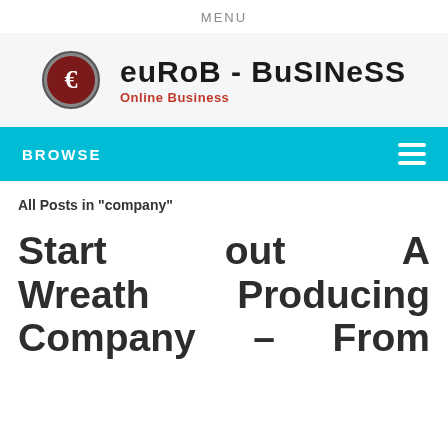MENU
[Figure (logo): EuroB-Business logo with a dark red circle containing a white Euro sign, followed by bold text 'euRoB - BuSINeSS' and subtitle 'Online Business' in red]
BROWSE
All Posts in "company"
Start out A Wreath Producing Company – From